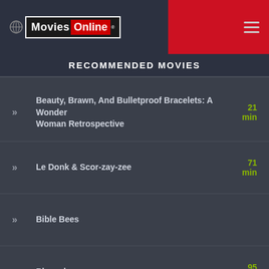[Figure (logo): Movies Online logo with red background header and hamburger menu icon]
RECOMMENDED MOVIES
Beauty, Brawn, And Bulletproof Bracelets: A Wonder Woman Retrospective — 21 min
Le Donk & Scor-zay-zee — 71 min
Bible Bees
Blurred — 95 min
Three Little Words — 102 min
Weirdos — 85 min